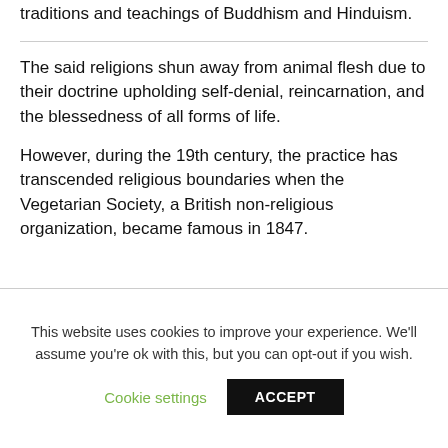traditions and teachings of Buddhism and Hinduism.
The said religions shun away from animal flesh due to their doctrine upholding self-denial, reincarnation, and the blessedness of all forms of life.
However, during the 19th century, the practice has transcended religious boundaries when the Vegetarian Society, a British non-religious organization, became famous in 1847.
This website uses cookies to improve your experience. We'll assume you're ok with this, but you can opt-out if you wish.
Cookie settings
ACCEPT